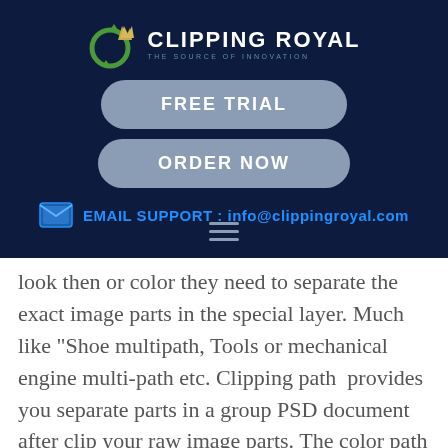[Figure (logo): Clipping Royal logo with circular green arrow icon and crown, dark navy background. Text reads CLIPPING ROYAL with tagline THE SOURCE OF INNOVATION]
FREE TRIAL
ORDER NOW
EMAIL SUPPORT : info@clippingroyal.com
look then or color they need to separate the exact image parts in the special layer. Much like “Shoe multipath, Tools or mechanical engine multi-path etc. Clipping path provides you separate parts in a group PSD document after clip your raw image parts. The color path is the service of Multi Clipping Path.